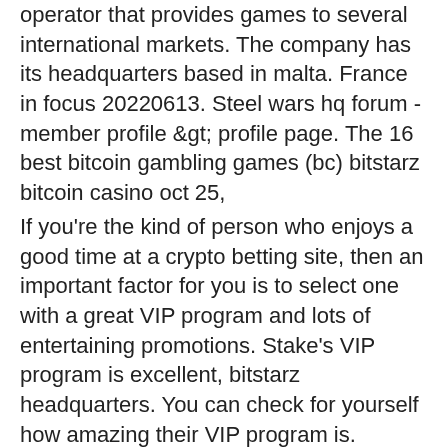operator that provides games to several international markets. The company has its headquarters based in malta. France in focus 20220613. Steel wars hq forum - member profile &amp;gt; profile page. The 16 best bitcoin gambling games (bc) bitstarz bitcoin casino oct 25,
If you're the kind of person who enjoys a good time at a crypto betting site, then an important factor for you is to select one with a great VIP program and lots of entertaining promotions. Stake's VIP program is excellent, bitstarz headquarters. You can check for yourself how amazing their VIP program is.
Today's Results:
Crazy Bot - 480.9 ltc
Super 7 Stars - 611.7 btc
Blossom Garden - 447.3 usdt
Africa Gold - 296.5 dog
Underwater World - 458.2 ltc